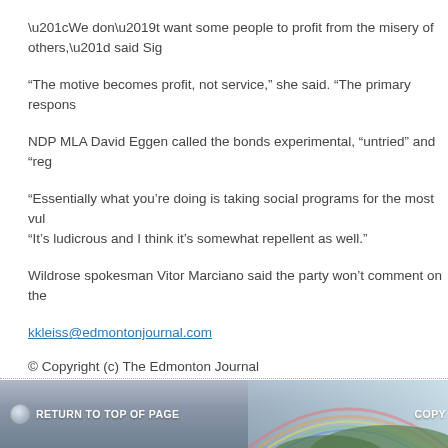“We don’t want some people to profit from the misery of others,” said Sig
“The motive becomes profit, not service,” she said. “The primary respons
NDP MLA David Eggen called the bonds experimental, “untried” and “reg
“Essentially what you’re doing is taking social programs for the most vul “It’s ludicrous and I think it’s somewhat repellent as well.”
Wildrose spokesman Vitor Marciano said the party won’t comment on the
kkleiss@edmontonjournal.com
© Copyright (c) The Edmonton Journal
FILED UNDER: NEWS
RETURN TO TOP OF PAGE   COPY